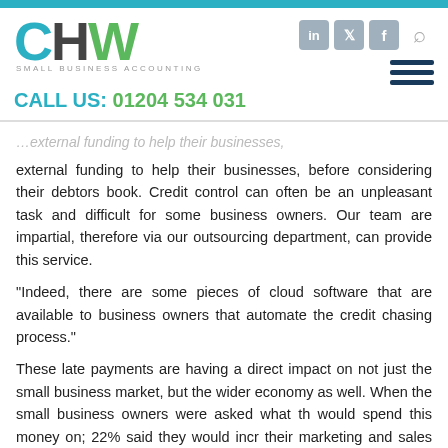[Figure (logo): CHW Small Business Accounting logo with teal C, dark H, green W letters and 'SMALL BUSINESS ACCOUNTING' subtitle]
CALL US: 01204 534 031
external funding to help their businesses, before considering their debtors book. Credit control can often be an unpleasant task and difficult for some business owners. Our team are impartial, therefore via our outsourcing department, can provide this service.
“Indeed, there are some pieces of cloud software that are available to business owners that automate the credit chasing process.”
These late payments are having a direct impact on not just the small business market, but the wider economy as well. When the small business owners were asked what th would spend this money on; 22% said they would incr their marketing and sales budget, in turn generating n sales, 17% said they would hire more staff and 17% would